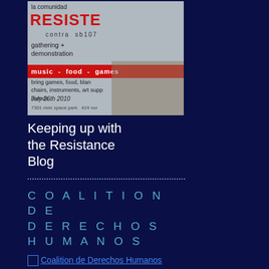[Figure (photo): Event flyer/poster for 'la comunidad RESISTE contra sb1070' gathering and demonstration with music, food, games. July 26th 2010. Shows text and background image of people in a field.]
Keeping up with the Resistance Blog
COALITION DE DERECHOS HUMANOS
Coalition de Derechos Humanos
Know your rights